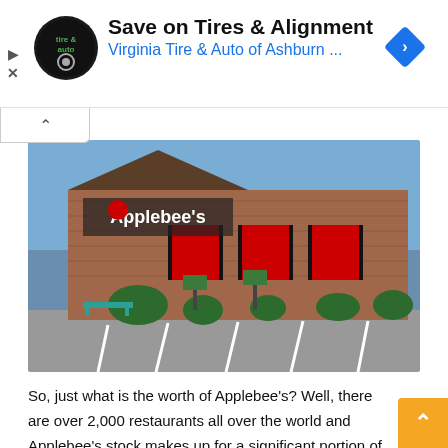[Figure (other): Advertisement banner: Virginia Tire & Auto logo (circular black badge with 'tire & auto' text), ad headline 'Save on Tires & Alignment', subheadline 'Virginia Tire & Auto of Ashburn ...', blue navigation diamond icon on right, play/close controls on left]
[Figure (photo): Exterior photo of an Applebee's restaurant building. A brick building with the Applebee's logo and sign visible. Red awnings over windows. Green bushes in front. Parking lot in foreground. Blue sky.]
So, just what is the worth of Applebee's? Well, there are over 2,000 restaurants all over the world and Applebee's stock makes up for a significant portion of the total locations that DineEquity have. When